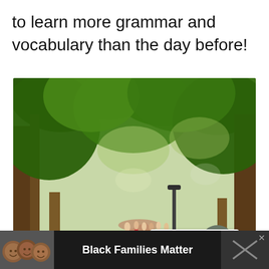to learn more grammar and vocabulary than the day before!
[Figure (photo): People walking along a tree-lined park path. In the foreground, three women wearing hijabs walk away from camera. More people are visible further along the path. Lush green trees form a canopy above. Social media UI overlays: a teal heart button, a white share button, and a 'What's Next' card showing 'The Custom House Towe...']
Black Families Matter